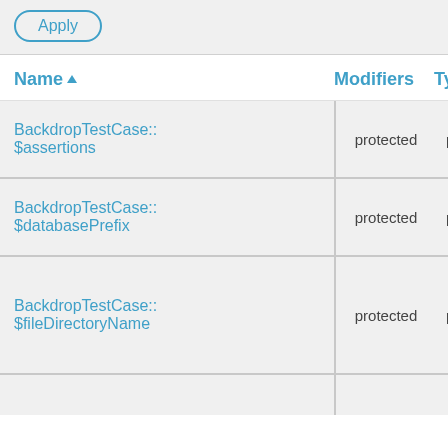[Figure (screenshot): Apply button with rounded border in blue outline style]
| Name ▲ | Modifiers | Type |
| --- | --- | --- |
| BackdropTestCase::$assertions | protected | property |
| BackdropTestCase::$databasePrefix | protected | property |
| BackdropTestCase::$fileDirectoryName | protected | property |
| (partial row, cut off) |  |  |